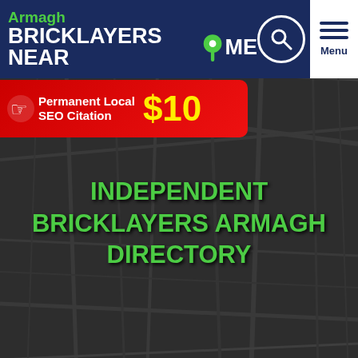Armagh BRICKLAYERS NEAR ME
[Figure (infographic): Red banner with hand/pointer icon: Permanent Local SEO Citation $10]
[Figure (map): Dark map background with road lines]
INDEPENDENT BRICKLAYERS ARMAGH DIRECTORY
[Figure (logo): Another Find It Near Me Directory logo watermark]
List Your Business
Get 3 Quotes FAST!
Armagh Bricklayers Listed Near You
[Figure (photo): Brick wall image on left]
110.3kms
[Figure (other): 5 empty gold star rating icons]